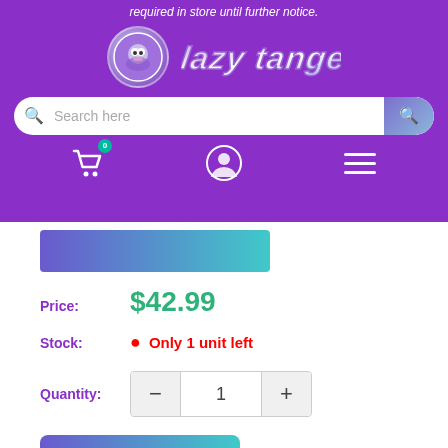required in store until further notice.
[Figure (logo): Store logo with circular mascot icon and stylized graffiti-style brand name text in purple/blue]
Search here
[Figure (infographic): Product image bar with gradient blue-teal color]
Price: $42.99
Stock: Only 1 unit left
Quantity: 1
Add to cart